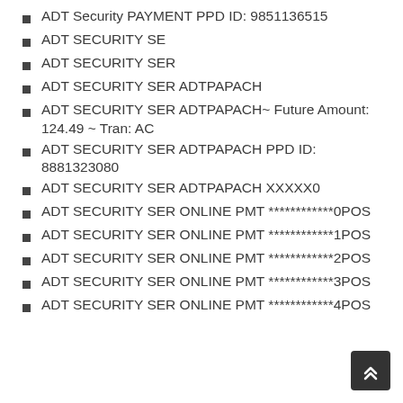ADT Security PAYMENT PPD ID: 9851136515
ADT SECURITY SE
ADT SECURITY SER
ADT SECURITY SER ADTPAPACH
ADT SECURITY SER ADTPAPACH~ Future Amount: 124.49 ~ Tran: AC
ADT SECURITY SER ADTPAPACH PPD ID: 8881323080
ADT SECURITY SER ADTPAPACH XXXXX0
ADT SECURITY SER ONLINE PMT ************0POS
ADT SECURITY SER ONLINE PMT ************1POS
ADT SECURITY SER ONLINE PMT ************2POS
ADT SECURITY SER ONLINE PMT ************3POS
ADT SECURITY SER ONLINE PMT ************4POS